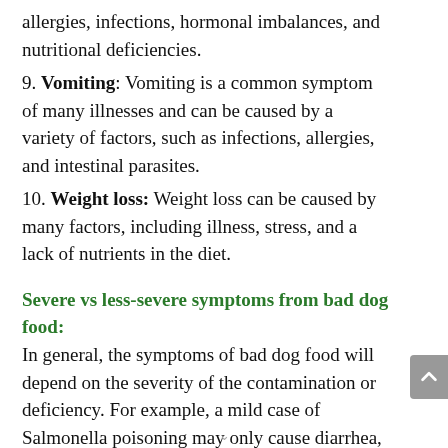allergies, infections, hormonal imbalances, and nutritional deficiencies.
9. Vomiting: Vomiting is a common symptom of many illnesses and can be caused by a variety of factors, such as infections, allergies, and intestinal parasites.
10. Weight loss: Weight loss can be caused by many factors, including illness, stress, and a lack of nutrients in the diet.
Severe vs less-severe symptoms from bad dog food:
In general, the symptoms of bad dog food will depend on the severity of the contamination or deficiency. For example, a mild case of Salmonella poisoning may only cause diarrhea, while a more severe case may lead